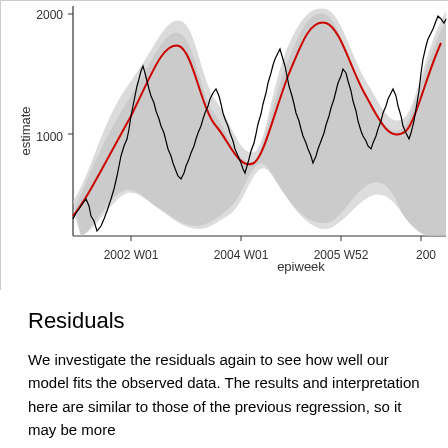[Figure (continuous-plot): Time series line chart showing estimate values (y-axis: 1000 to 2000) over epiweeks (x-axis: 2002 W01 to ~2007). Contains a black jagged observed data line, a smooth red fitted line, and a gray confidence interval band. The pattern shows recurring seasonal waves.]
Residuals
We investigate the residuals again to see how well our model fits the observed data. The results and interpretation here are similar to those of the previous regression, so it may be more